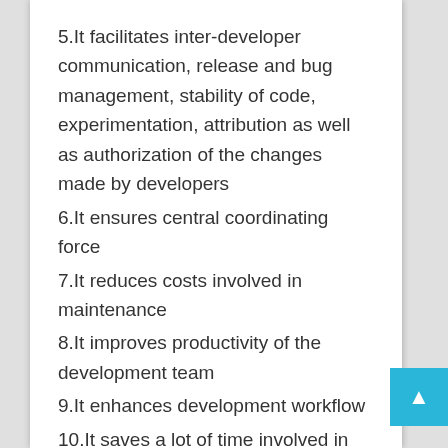5.It facilitates inter-developer communication, release and bug management, stability of code, experimentation, attribution as well as authorization of the changes made by developers
6.It ensures central coordinating force
7.It reduces costs involved in maintenance
8.It improves productivity of the development team
9.It enhances development workflow
10.It saves a lot of time involved in finding defects
Sponsored By: Maneet Puri. He heads a